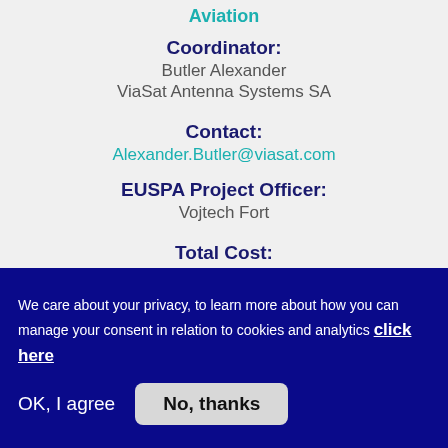Aviation
Coordinator:
Butler Alexander
ViaSat Antenna Systems SA
Contact:
Alexander.Butler@viasat.com
EUSPA Project Officer:
Vojtech Fort
Total Cost:
4 171 487 €
EU Contributions:
We care about your privacy, to learn more about how you can manage your consent in relation to cookies and analytics click here
OK, I agree
No, thanks